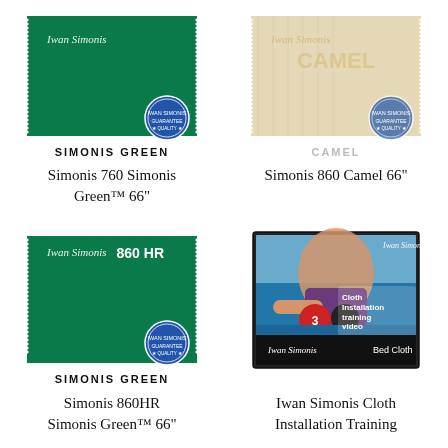[Figure (photo): Green billiard cloth swatch labeled '760' with Simonis brand seal and logo, SIMONIS GREEN label beneath]
SIMONIS GREEN
Simonis 760 Simonis Green™ 66"
[Figure (photo): Camel/beige billiard cloth swatch with faded label, CAMEL label beneath]
Simonis 860 Camel 66"
[Figure (photo): Green billiard cloth swatch labeled '860 HR' with Simonis brand seal and logo, SIMONIS GREEN label beneath]
SIMONIS GREEN
Simonis 860HR Simonis Green™ 66"
[Figure (photo): DVD case for Iwan Simonis Cloth Installation Training video showing a woman playing billiards with red and black balls on a blue table]
Iwan Simonis Cloth Installation Training